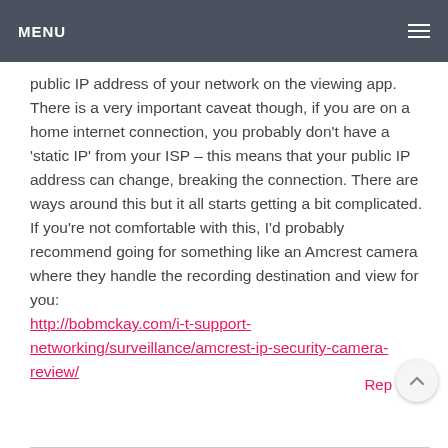MENU
public IP address of your network on the viewing app. There is a very important caveat though, if you are on a home internet connection, you probably don't have a 'static IP' from your ISP – this means that your public IP address can change, breaking the connection. There are ways around this but it all starts getting a bit complicated. If you're not comfortable with this, I'd probably recommend going for something like an Amcrest camera where they handle the recording destination and view for you: http://bobmckay.com/i-t-support-networking/surveillance/amcrest-ip-security-camera-review/